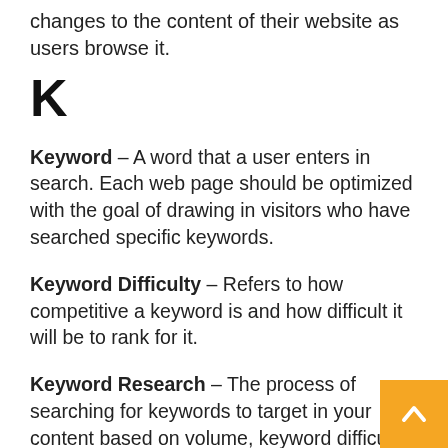changes to the content of their website as users browse it.
K
Keyword – A word that a user enters in search. Each web page should be optimized with the goal of drawing in visitors who have searched specific keywords.
Keyword Difficulty – Refers to how competitive a keyword is and how difficult it will be to rank for it.
Keyword Research – The process of searching for keywords to target in your content based on volume, keyword difficulty, and other factors.
Keyword Stuffing – The overuse of keywords in your content in an attempt to rank higher.